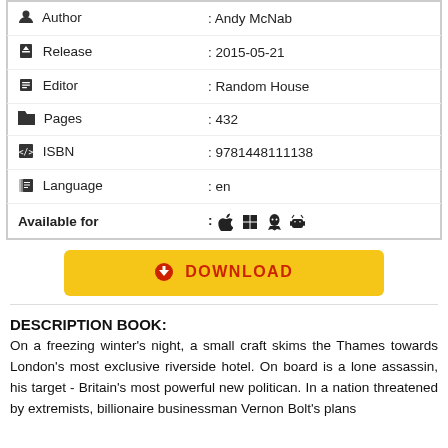| Author | : Andy McNab |
| Release | : 2015-05-21 |
| Editor | : Random House |
| Pages | : 432 |
| ISBN | : 9781448111138 |
| Language | : en |
| Available for | : 🍎 ⊞ 🐧 🤖 |
[Figure (other): Yellow Download button with download icon]
DESCRIPTION BOOK:
On a freezing winter's night, a small craft skims the Thames towards London's most exclusive riverside hotel. On board is a lone assassin, his target - Britain's most powerful new politican. In a nation threatened by extremists, billionaire businessman Vernon Bolt's plans